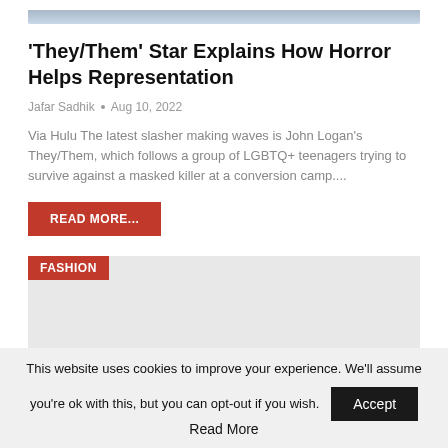[Figure (photo): Top portion of a photo showing people, partially cropped]
'They/Them' Star Explains How Horror Helps Representation
Jafar Sadhik • Aug 10, 2022
Via Hulu The latest slasher making waves is John Logan's They/Them, which follows a group of LGBTQ+ teenagers trying to survive against a masked killer at a conversion camp....
READ MORE...
[Figure (photo): Fashion category image placeholder with FASHION label tag, light grey background]
This website uses cookies to improve your experience. We'll assume you're ok with this, but you can opt-out if you wish. Accept Read More